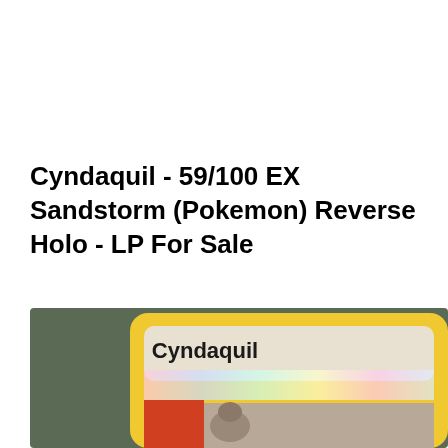Cyndaquil - 59/100 EX Sandstorm (Pokemon) Reverse Holo - LP For Sale
[Figure (photo): Close-up photograph of a Pokemon trading card — Cyndaquil from the EX Sandstorm set, Reverse Holo variant. The card shows a yellow card border with rounded corners against a dark green/grey background. The card name 'Cyndaquil' is printed in bold dark text on a holographic rainbow-shimmer name banner area. The bottom portion of the card (image area) shows a partially visible Cyndaquil pokemon illustration.]